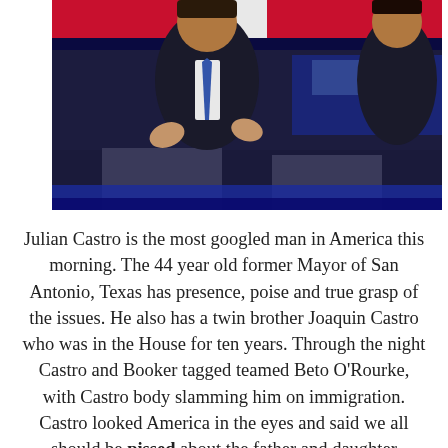[Figure (photo): A man in a dark suit with a blue tie speaking at a podium during what appears to be a political debate, gesturing with both hands. The background shows red, white and blue debate stage lighting. Another person in a dark suit is partially visible on the right.]
Julian Castro is the most googled man in America this morning. The 44 year old former Mayor of San Antonio, Texas has presence, poise and true grasp of the issues. He also has a twin brother Joaquin Castro who was in the House for ten years. Through the night Castro and Booker tagged teamed Beto O'Rourke, with Castro body slamming him on immigration. Castro looked America in the eyes and said we all should be pissed about the father and daughter drowning in the Rio Grande river. Just close your eyes and